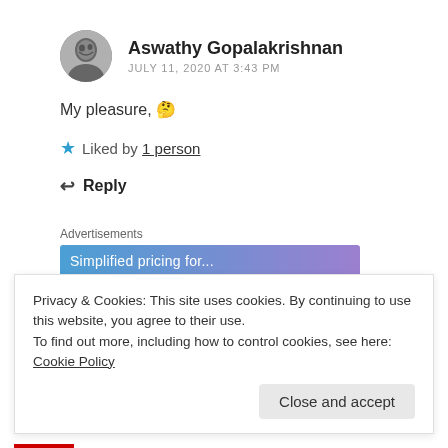[Figure (photo): Circular avatar photo of Aswathy Gopalakrishnan, grayscale portrait]
Aswathy Gopalakrishnan
JULY 11, 2020 AT 3:43 PM
My pleasure, 🤔
★ Liked by 1 person
↩ Reply
Advertisements
[Figure (other): Blue-to-purple gradient advertisement banner, partially visible text]
Privacy & Cookies: This site uses cookies. By continuing to use this website, you agree to their use.
To find out more, including how to control cookies, see here: Cookie Policy
Close and accept